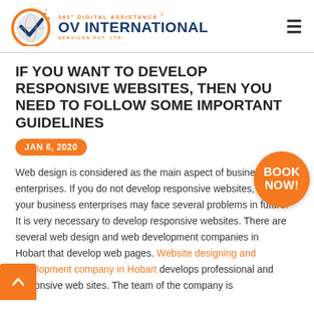[Figure (logo): OV International 360° Digital Assistance Services Pvt. Ltd. logo with orange globe icon and navy blue text]
IF YOU WANT TO DEVELOP RESPONSIVE WEBSITES, THEN YOU NEED TO FOLLOW SOME IMPORTANT GUIDELINES
JAN 6, 2020
Web design is considered as the main aspect of business enterprises. If you do not develop responsive websites, then your business enterprises may face several problems in future. It is very necessary to develop responsive websites. There are several web design and web development companies in Hobart that develop web pages. Website designing and development company in Hobart develops professional and responsive web sites. The team of the company is